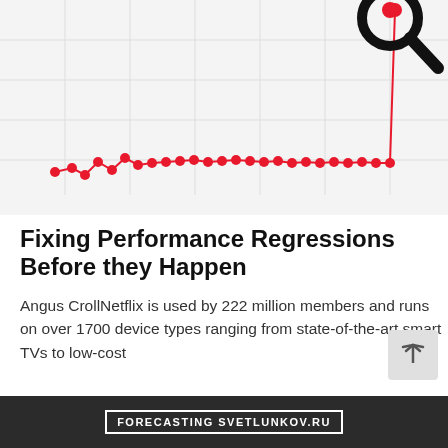[Figure (line-chart): A line chart showing data points mostly flat near the bottom with a sharp spike at the end, topped by a magnifying glass icon with a red dot. Red dots connected by red lines.]
Fixing Performance Regressions Before they Happen
Angus CrollNetflix is used by 222 million members and runs on over 1700 device types ranging from state-of-the-art smart TVs to low-cost
FORECASTING SVETLUNKOV.RU